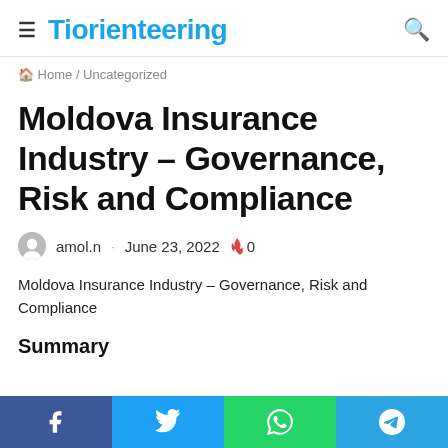Tiorienteering
Home / Uncategorized
Moldova Insurance Industry – Governance, Risk and Compliance
amol.n · June 23, 2022 🔥 0
Moldova Insurance Industry – Governance, Risk and Compliance
Summary